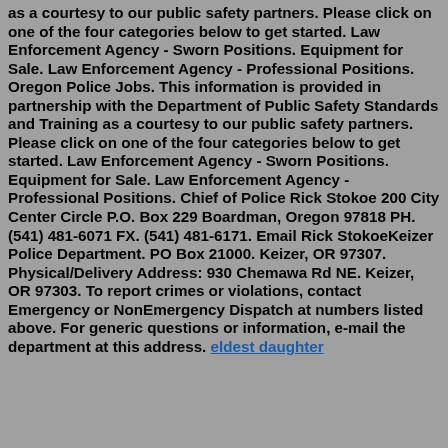as a courtesy to our public safety partners. Please click on one of the four categories below to get started. Law Enforcement Agency - Sworn Positions. Equipment for Sale. Law Enforcement Agency - Professional Positions. Oregon Police Jobs. This information is provided in partnership with the Department of Public Safety Standards and Training as a courtesy to our public safety partners. Please click on one of the four categories below to get started. Law Enforcement Agency - Sworn Positions. Equipment for Sale. Law Enforcement Agency - Professional Positions. Chief of Police Rick Stokoe 200 City Center Circle P.O. Box 229 Boardman, Oregon 97818 PH. (541) 481-6071 FX. (541) 481-6171. Email Rick StokoeKeizer Police Department. PO Box 21000. Keizer, OR 97307. Physical/Delivery Address: 930 Chemawa Rd NE. Keizer, OR 97303. To report crimes or violations, contact Emergency or NonEmergency Dispatch at numbers listed above. For generic questions or information, e-mail the department at this address. eldest daughter